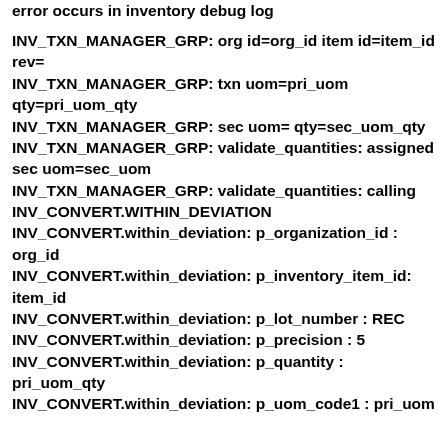error occurs in inventory debug log
INV_TXN_MANAGER_GRP: org id=org_id item id=item_id rev=
INV_TXN_MANAGER_GRP: txn uom=pri_uom qty=pri_uom_qty
INV_TXN_MANAGER_GRP: sec uom= qty=sec_uom_qty
INV_TXN_MANAGER_GRP: validate_quantities: assigned sec uom=sec_uom
INV_TXN_MANAGER_GRP: validate_quantities: calling INV_CONVERT.WITHIN_DEVIATION
INV_CONVERT.within_deviation: p_organization_id : org_id
INV_CONVERT.within_deviation: p_inventory_item_id: item_id
INV_CONVERT.within_deviation: p_lot_number : REC
INV_CONVERT.within_deviation: p_precision : 5
INV_CONVERT.within_deviation: p_quantity : pri_uom_qty
INV_CONVERT.within_deviation: p_uom_code1 : pri_uom